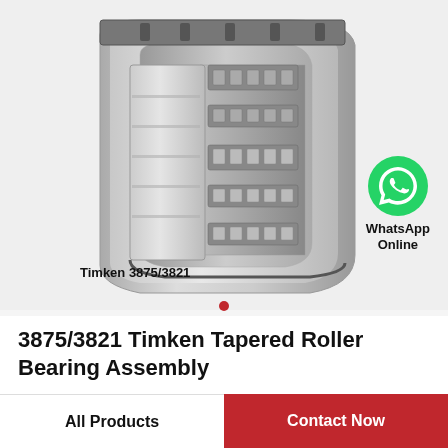[Figure (photo): Cross-section cutaway photo of a Timken 3875/3821 tapered roller bearing assembly showing internal roller elements, inner and outer rings with steel finish]
Timken 3875/3821
[Figure (logo): WhatsApp green circle icon with phone handset symbol, labeled WhatsApp Online]
3875/3821 Timken Tapered Roller Bearing Assembly
All Products
Contact Now